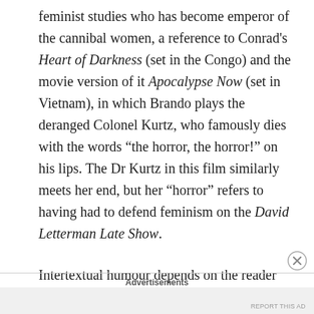feminist studies who has become emperor of the cannibal women, a reference to Conrad's Heart of Darkness (set in the Congo) and the movie version of it Apocalypse Now (set in Vietnam), in which Brando plays the deranged Colonel Kurtz, who famously dies with the words “the horror, the horror!” on his lips. The Dr Kurtz in this film similarly meets her end, but her “horror” refers to having had to defend feminism on the David Letterman Late Show.
Intertextual humour depends on the reader being familiar with the sometimes cryptic references.
Advertisements